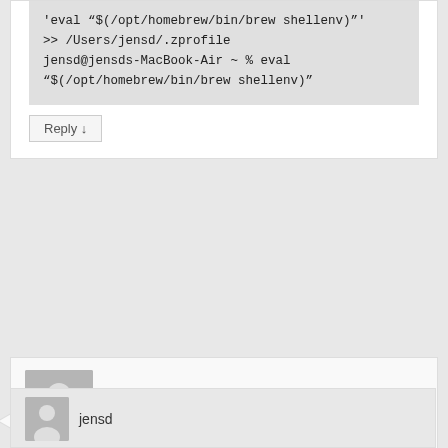'eval "$(/opt/homebrew/bin/brew shellenv)"'
>> /Users/jensd/.zprofile
jensd@jensds-MacBook-Air ~ % eval "$(/opt/homebrew/bin/brew shellenv)"
Reply ↓
Saeed on 02/11/2021 at 21:52 said:
Downloading Command line Tools for Xcode stuck for long time what that happen
Reply ↓
jensd